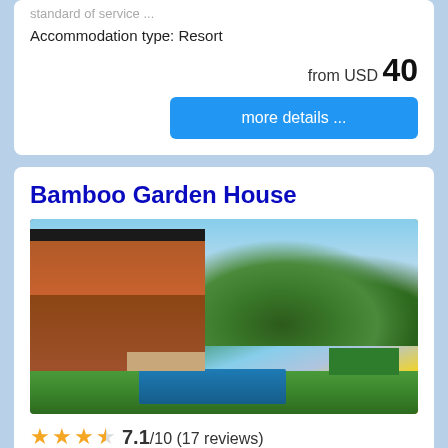standard of service ...
Accommodation type: Resort
from USD 40
more details ...
Bamboo Garden House
[Figure (photo): Exterior photo of Bamboo Garden House showing a brick building with pool, lawn, and trees at sunset]
7.1/10 (17 reviews)